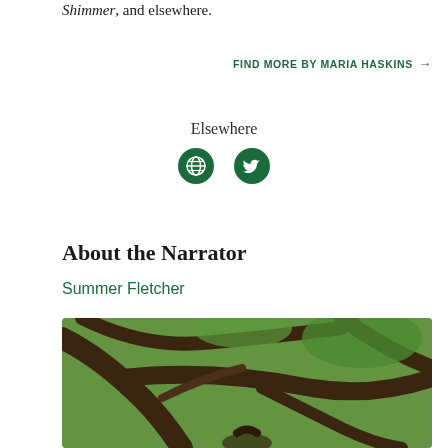Shimmer, and elsewhere.
FIND MORE BY MARIA HASKINS →
Elsewhere
[Figure (other): Two circular social media icons: a globe/web icon and a Twitter bird icon, both in dark green on white background]
About the Narrator
Summer Fletcher
[Figure (photo): A person sitting among large twisted tree branches in a forest with green foliage in the background]